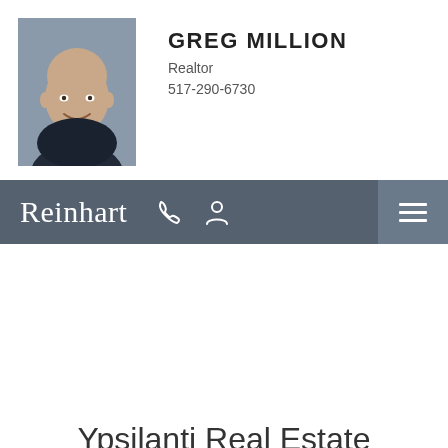[Figure (photo): Headshot photo of Greg Million, a middle-aged bald man wearing a dark shirt, smiling, against a grey/blue background]
GREG MILLION
Realtor
517-290-6730
Reinhart
Ypsilanti Real Estate